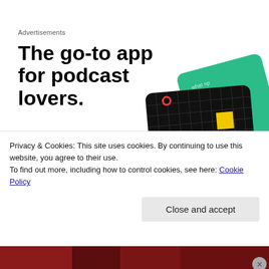Advertisements
The go-to app for podcast lovers.
Download now
[Figure (illustration): Podcast app cards showing 99% Invisible podcast artwork on a black grid-pattern card with a yellow square, plus teal and blue app UI cards fanned behind it]
Privacy & Cookies: This site uses cookies. By continuing to use this website, you agree to their use.
To find out more, including how to control cookies, see here: Cookie Policy
Close and accept